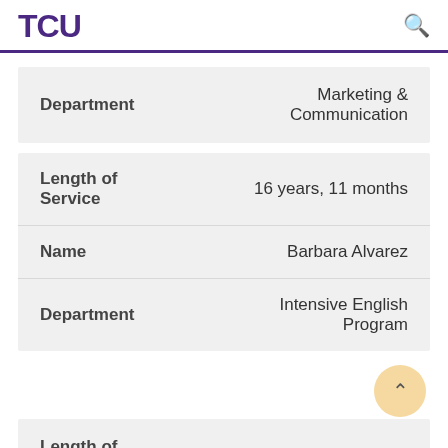TCU
| Field | Value |
| --- | --- |
| Department | Marketing & Communication |
| Field | Value |
| --- | --- |
| Length of Service | 16 years, 11 months |
| Name | Barbara Alvarez |
| Department | Intensive English Program |
| Field | Value |
| --- | --- |
| Length of Service | 16 years, 8 months |